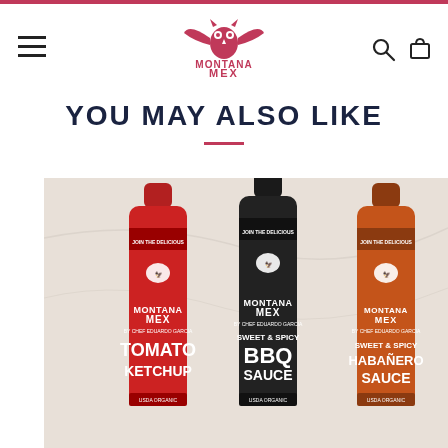Montana Mex website header with logo, hamburger menu, search and cart icons
YOU MAY ALSO LIKE
[Figure (photo): Three Montana Mex sauce bottles side by side on a marble surface: red Tomato Ketchup, black Sweet & Spicy BBQ Sauce, and orange Sweet & Spicy Habanero Sauce, all by Chef Eduardo Garcia]